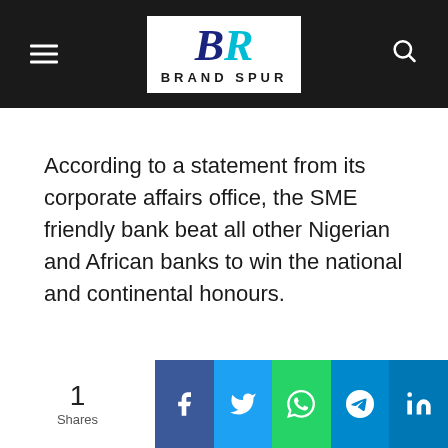Brand Spur
According to a statement from its corporate affairs office, the SME friendly bank beat all other Nigerian and African banks to win the national and continental honours.
1 Shares | Facebook | Twitter | WhatsApp | Telegram | LinkedIn